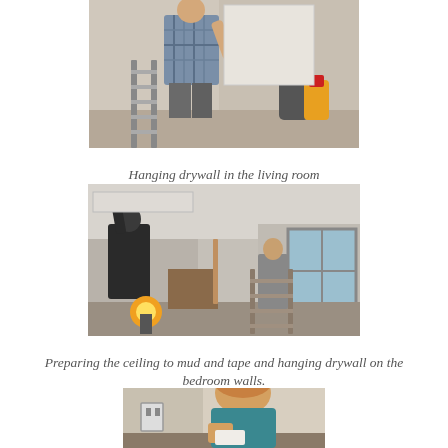[Figure (photo): A man hanging drywall in a living room, standing near a ladder with tools and equipment around him.]
Hanging drywall in the living room
[Figure (photo): Workers preparing the ceiling to mud and tape and hanging drywall on the bedroom walls, one on a ladder near the ceiling, a work light on the floor.]
Preparing the ceiling to mud and tape and hanging drywall on the bedroom walls.
[Figure (photo): A young boy crouching near the floor working on something at the base of a wall, appears to be doing electrical or construction work.]